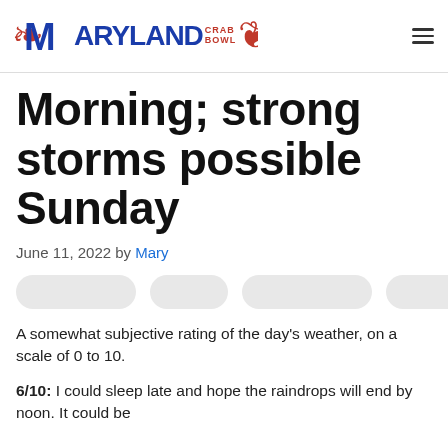MARYLAND CRAB BOWL
Morning; strong storms possible Sunday
June 11, 2022 by Mary
[Figure (other): Four rounded pill/button shapes in light gray, representing navigation or category tags]
A somewhat subjective rating of the day’s weather, on a scale of 0 to 10.
6/10: I could sleep late and hope the raindrops will end by noon. It could be